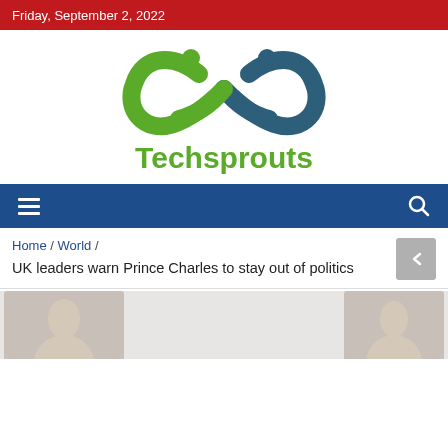Friday, September 2, 2022
[Figure (logo): Techsprouts logo: infinity symbol in green and dark teal with two small circles, and the word Techsprouts in green below]
☰  🔍
Home / World /
UK leaders warn Prince Charles to stay out of politics
[Figure (photo): Partial photo strip at the bottom of the page showing what appears to be a person]